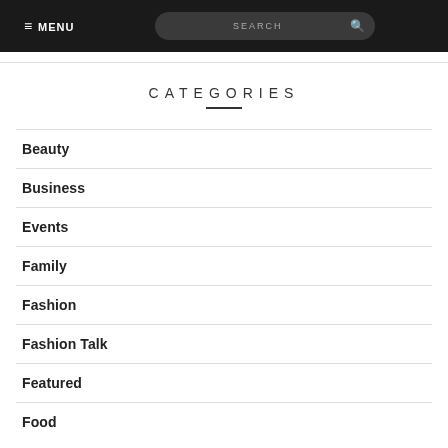≡ MENU   SEARCH
CATEGORIES
Beauty
Business
Events
Family
Fashion
Fashion Talk
Featured
Food